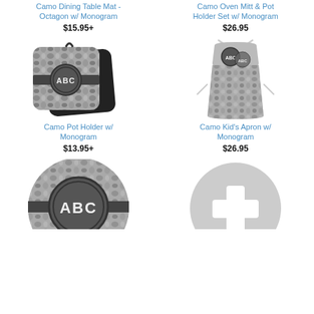Camo Dining Table Mat - Octagon w/ Monogram
$15.95+
Camo Oven Mitt & Pot Holder Set w/ Monogram
$26.95
[Figure (photo): Camo pot holder with monogram ABC in circle design, grey camouflage pattern, two pot holders stacked]
Camo Pot Holder w/ Monogram
$13.95+
[Figure (photo): Camo kid's apron with monogram ABC, grey camouflage pattern, child's apron with ties]
Camo Kid's Apron w/ Monogram
$26.95
[Figure (photo): Camo round plate or trivet with large ABC monogram circle, grey camouflage, partially visible at bottom]
[Figure (photo): Round grey circle with plus/cross symbol, partially visible at bottom right]